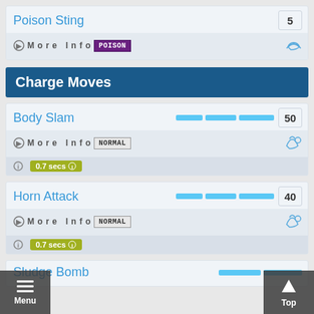Poison Sting
5
More Info  POISON
Charge Moves
Body Slam
50
More Info  NORMAL
0.7 secs
Horn Attack
40
More Info  NORMAL
0.7 secs
Sludge Bomb
Menu
Top